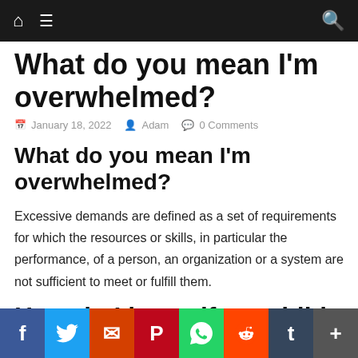Navigation bar with home, menu, and search icons
What do you mean I'm overwhelmed?
January 18, 2022  Adam  0 Comments
What do you mean I'm overwhelmed?
Excessive demands are defined as a set of requirements for which the resources or skills, in particular the performance, of a person, an organization or a system are not sufficient to meet or fulfill them.
How do I know if my child is overwhelmed?
Social sharing bar: Facebook, Twitter, Email, Pinterest, WhatsApp, Reddit, Tumblr, More